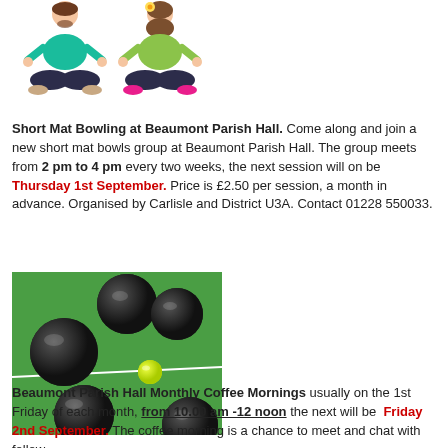[Figure (illustration): Two cartoon figures sitting in meditation/yoga pose — a man in teal shirt and dark trousers, and a woman in green top and dark trousers with a flower in her hair]
Short Mat Bowling at Beaumont Parish Hall. Come along and join a new short mat bowls group at Beaumont Parish Hall. The group meets from 2 pm to 4 pm every two weeks, the next session will on be Thursday 1st September. Price is £2.50 per session, a month in advance. Organised by Carlisle and District U3A. Contact 01228 550033.
[Figure (photo): Photo of black lawn bowling balls on a green mat with a small yellow jack ball]
Beaumont Parish Hall Monthly Coffee Mornings usually on the 1st Friday of each month, from 10.00 am -12 noon the next will be Friday 2nd September. The coffee morning is a chance to meet and chat with fellow